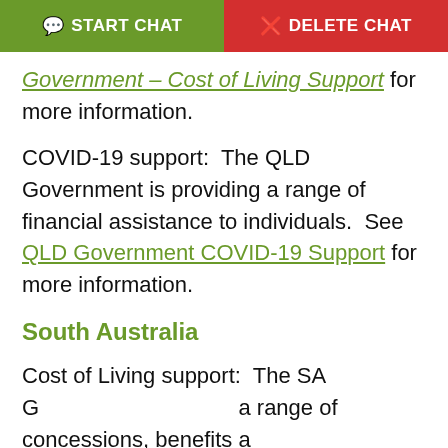START CHAT | DELETE CHAT
Government – Cost of Living Support for more information.
COVID-19 support:  The QLD Government is providing a range of financial assistance to individuals.  See QLD Government COVID-19 Support for more information.
South Australia
Cost of Living support:  The SA Government provides a range of concessions, benefits and services available to help ease the cost of living for SA residents. These include energy bill concessions, School Card scheme, FuneralAssistanceSA
[Figure (illustration): Green chat bubble widget with speech bubble icon and text 'Chat to a Financial Counsellor']